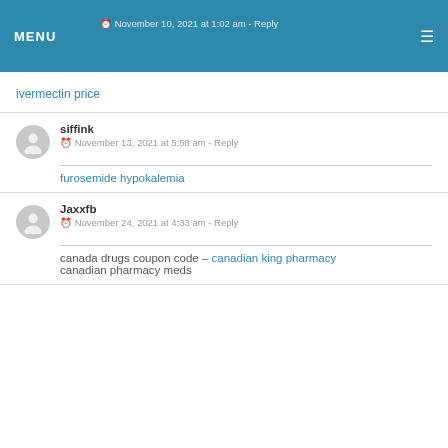MENU | November 10, 2021 at 1:02 am - Reply
ivermectin price
siffink
November 13, 2021 at 5:58 am - Reply
furosemide hypokalemia
Jaxxfb
November 24, 2021 at 4:33 am - Reply
canada drugs coupon code – canadian king pharmacy canadian pharmacy meds